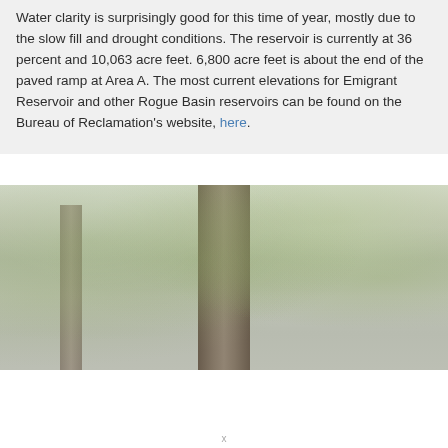Water clarity is surprisingly good for this time of year, mostly due to the slow fill and drought conditions. The reservoir is currently at 36 percent and 10,063 acre feet. 6,800 acre feet is about the end of the paved ramp at Area A. The most current elevations for Emigrant Reservoir and other Rogue Basin reservoirs can be found on the Bureau of Reclamation's website, here.
[Figure (photo): Looking up through tall forest trees (primarily a large conifer trunk in center) with green leafy canopy visible against a light sky. The image is washed out/low contrast with muted greens and grays.]